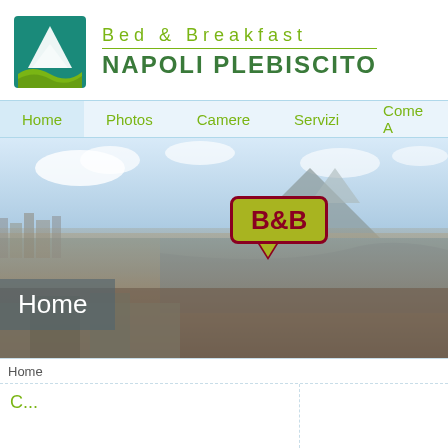[Figure (logo): Bed & Breakfast Napoli Plebiscito logo with teal mountain/wave icon and green text]
Home | Photos | Camere | Servizi | Come A
[Figure (photo): Aerial panoramic photo of Naples waterfront with the city, bay, and Mount Vesuvius in the background. A yellow-green speech bubble with 'B&B' in dark red text is overlaid on the image. 'Home' text appears in a semi-transparent overlay at the bottom left.]
Home
C...